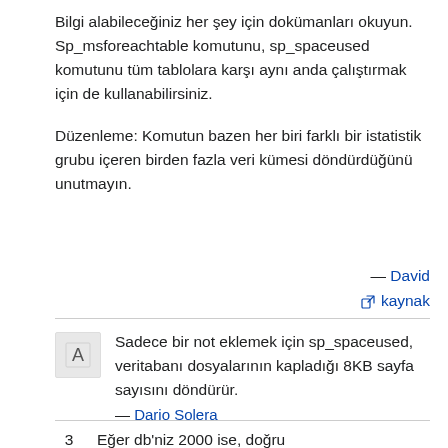Bilgi alabileceğiniz her şey için dokümanları okuyun. Sp_msforeachtable komutunu, sp_spaceused komutunu tüm tablolara karşı aynı anda çalıştırmak için de kullanabilirsiniz.
Düzenleme: Komutun bazen her biri farklı bir istatistik grubu içeren birden fazla veri kümesi döndürdüğünü unutmayın.
— David
🔗 kaynak
Sadece bir not eklemek için sp_spaceused, veritabanı dosyalarının kapladığı 8KB sayfa sayısını döndürür.
— Dario Solera
3  Eğer db'niz 2000 ise, doğru